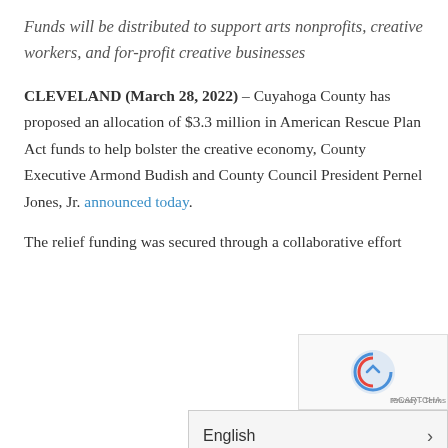Funds will be distributed to support arts nonprofits, creative workers, and for-profit creative businesses
CLEVELAND (March 28, 2022) – Cuyahoga County has proposed an allocation of $3.3 million in American Rescue Plan Act funds to help bolster the creative economy, County Executive Armond Budish and County Council President Pernel Jones, Jr. announced today.
The relief funding was secured through a collaborative effor... Cuyahoga Arts & Culture (C...